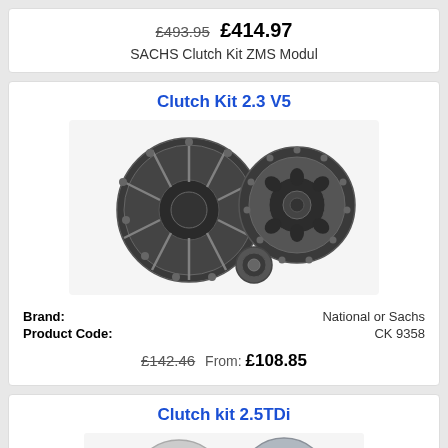£493.95  £414.97
SACHS Clutch Kit ZMS Modul
Clutch Kit 2.3 V5
[Figure (photo): Clutch kit components showing pressure plate, clutch disc, and bearing]
Brand: National or Sachs
Product Code: CK 9358
£142.46  From: £108.85
Clutch kit 2.5TDi
[Figure (photo): Partial view of clutch kit components]